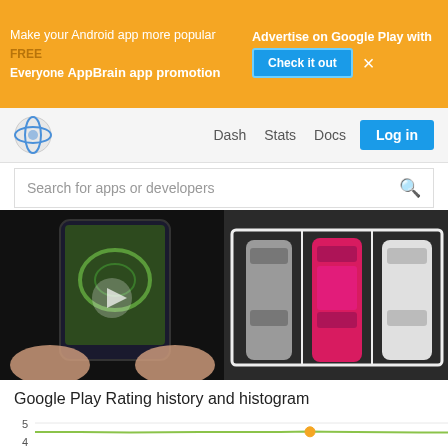[Figure (screenshot): AppBrain advertisement banner with orange background. Text: 'Make your Android app more popular', 'Advertise on Google Play with FREE AppBrain app promotion Everyone', with 'Check it out' button and close X button.]
Dash   Stats   Docs   Log in
Search for apps or developers
[Figure (screenshot): Left: hands holding smartphone playing a racing/driving game with circular track. Right: top-down view of parking lot with three cars - two gray and one pink/magenta.]
Google Play Rating history and histogram
[Figure (continuous-plot): Line chart showing Google Play rating history. Y-axis from 3 to 5, with rating hovering around 4.2-4.3. A highlighted orange dot appears mid-chart on the line.]